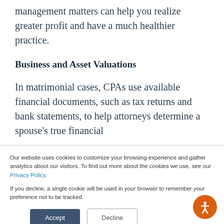management matters can help you realize greater profit and have a much healthier practice.
Business and Asset Valuations
In matrimonial cases, CPAs use available financial documents, such as tax returns and bank statements, to help attorneys determine a spouse's true financial
Our website uses cookies to customize your browsing experience and gather analytics about our visitors. To find out more about the cookies we use, see our Privacy Policy.

If you decline, a single cookie will be used in your browser to remember your preference not to be tracked.